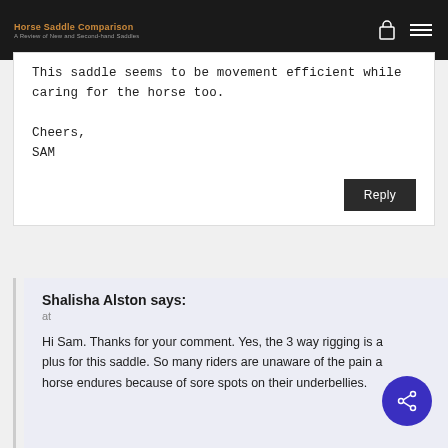Horse Saddle Comparison — A Review of New and Second-hand Saddles
This saddle seems to be movement efficient while caring for the horse too.

Cheers,
SAM
Reply
Shalisha Alston says:
at
Hi Sam. Thanks for your comment. Yes, the 3 way rigging is a plus for this saddle. So many riders are unaware of the pain a horse endures because of sore spots on their underbellies.